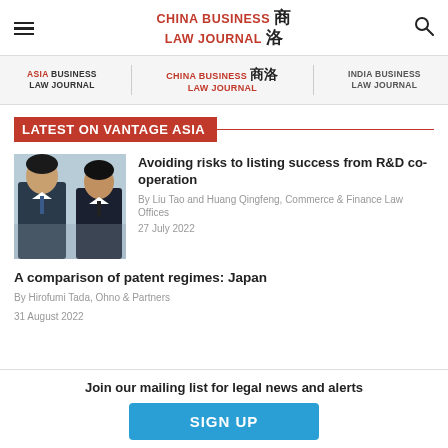CHINA BUSINESS LAW JOURNAL
[Figure (screenshot): Navigation bar with Asia Business Law Journal, China Business Law Journal, India Business Law Journal logos]
LATEST ON VANTAGE ASIA
[Figure (photo): Two men in business suits, professional headshots]
Avoiding risks to listing success from R&D co-operation
By Liu Tao and Huang Qingfeng, Commerce & Finance Law Offices
27 July 2022
A comparison of patent regimes: Japan
By Hirofumi Tada, Ohno & Partners
31 August 2022
Join our mailing list for legal news and alerts